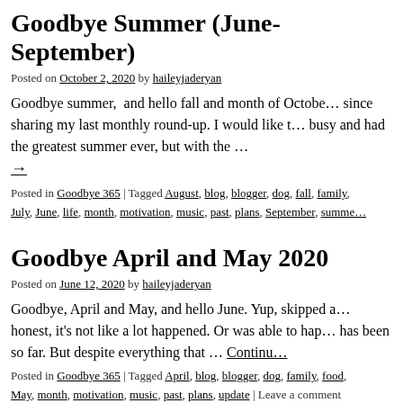Goodbye Summer (June-September)
Posted on October 2, 2020 by haileyjaderyan
Goodbye summer, and hello fall and month of October. It's been a while since sharing my last monthly round-up. I would like to say that I was very busy and had the greatest summer ever, but with the →
Posted in Goodbye 365 | Tagged August, blog, blogger, dog, fall, family, July, June, life, month, motivation, music, past, plans, September, summer
Goodbye April and May 2020
Posted on June 12, 2020 by haileyjaderyan
Goodbye, April and May, and hello June. Yup, skipped a month. To be honest, it's not like a lot happened. Or was able to happen. This year has been so far. But despite everything that … Continue
Posted in Goodbye 365 | Tagged April, blog, blogger, dog, family, food, May, month, motivation, music, past, plans, update | Leave a comment